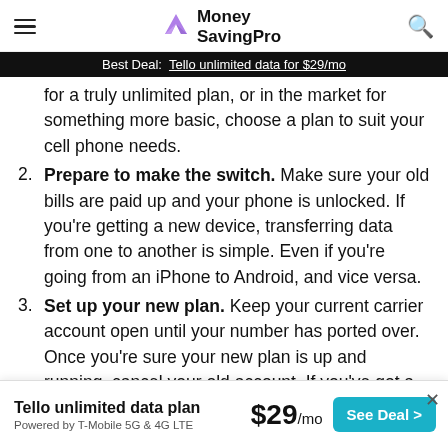Money SavingPro
Best Deal:  Tello unlimited data for $29/mo
for a truly unlimited plan, or in the market for something more basic, choose a plan to suit your cell phone needs.
2. Prepare to make the switch. Make sure your old bills are paid up and your phone is unlocked. If you're getting a new device, transferring data from one to another is simple. Even if you're going from an iPhone to Android, and vice versa.
3. Set up your new plan. Keep your current carrier account open until your number has ported over. Once you're sure your new plan is up and running, cancel your old account. If you've got a new device with your Tello plan, it
Tello unlimited data plan
Powered by T-Mobile 5G & 4G LTE
$29/mo
See Deal >